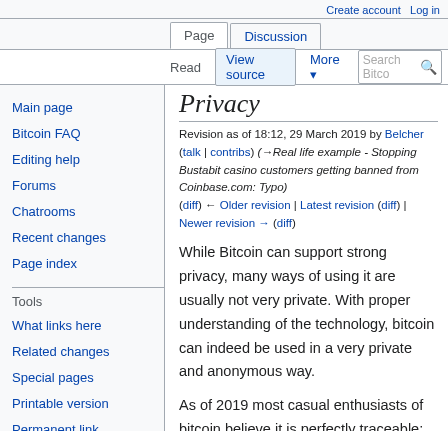Create account  Log in
Page  Discussion  Read  View source  More  Search Bitco
Privacy
Revision as of 18:12, 29 March 2019 by Belcher (talk | contribs) (→Real life example - Stopping Bustabit casino customers getting banned from Coinbase.com: Typo)
(diff) ← Older revision | Latest revision (diff) | Newer revision → (diff)
While Bitcoin can support strong privacy, many ways of using it are usually not very private. With proper understanding of the technology, bitcoin can indeed be used in a very private and anonymous way.
As of 2019 most casual enthusiasts of bitcoin believe it is perfectly traceable; this is completely false. Around 2011